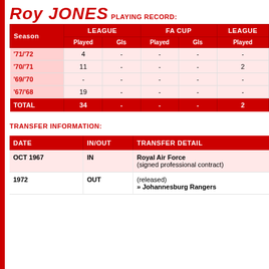Roy JONES
PLAYING RECORD:
| Season | LEAGUE Played | LEAGUE Gls | FA CUP Played | FA CUP Gls | LEAGUE Played |
| --- | --- | --- | --- | --- | --- |
| '71/'72 | 4 | - | - | - | - |
| '70/'71 | 11 | - | - | - | 2 |
| '69/'70 | - | - | - | - | - |
| '67/'68 | 19 | - | - | - | - |
| TOTAL | 34 | - | - | - | 2 |
TRANSFER INFORMATION:
| DATE | IN/OUT | TRANSFER DETAIL |
| --- | --- | --- |
| OCT 1967 | IN | Royal Air Force (signed professional contract) |
| 1972 | OUT | (released) » Johannesburg Rangers |